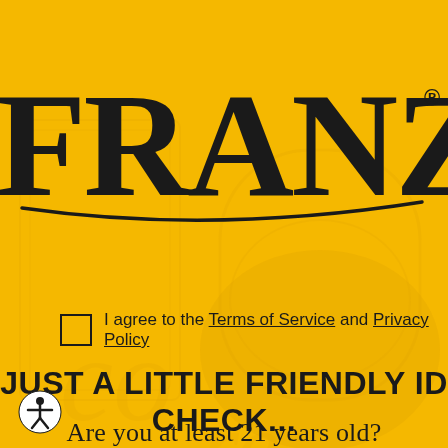[Figure (logo): Franzia wine brand logo in large black serif font on yellow background with swoosh underline and registered trademark symbol]
I agree to the Terms of Service and Privacy Policy
JUST A LITTLE FRIENDLY ID CHECK...
[Figure (illustration): Accessibility icon - person in circle]
Are you at least 21 years old?